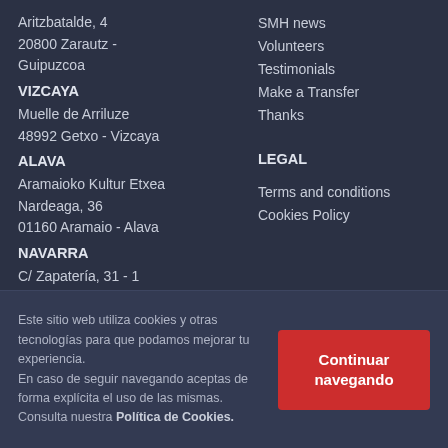Aritzbatalde, 4
20800 Zarautz - Guipuzcoa
VIZCAYA
Muelle de Arriluze
48992 Getxo - Vizcaya
ALAVA
Aramaioko Kultur Etxea
Nardeaga, 36
01160 Aramaio - Alava
NAVARRA
C/ Zapatería, 31 - 1
31001 Pamplona - Navarra
SMH news
Volunteers
Testimonials
Make a Transfer
Thanks
LEGAL
Terms and conditions
Cookies Policy
Este sitio web utiliza cookies y otras tecnologías para que podamos mejorar tu experiencia.
En caso de seguir navegando aceptas de forma explícita el uso de las mismas. Consulta nuestra Política de Cookies.
Continuar navegando